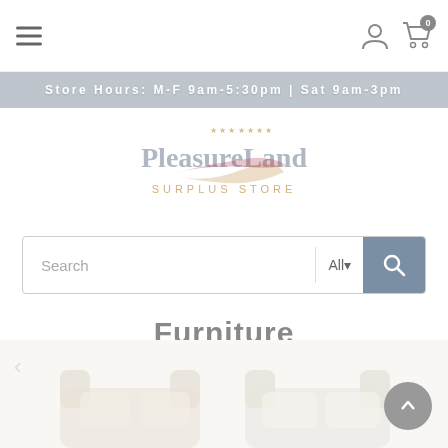Store Hours: M-F 9am-5:30pm | Sat 9am-3pm
[Figure (logo): PleasureLand Surplus Store logo with red/blue swoosh and star design]
Search  All
Furniture
Home / Furniture
[Figure (photo): Partial view of cream/beige upholstered furniture items at bottom of page]